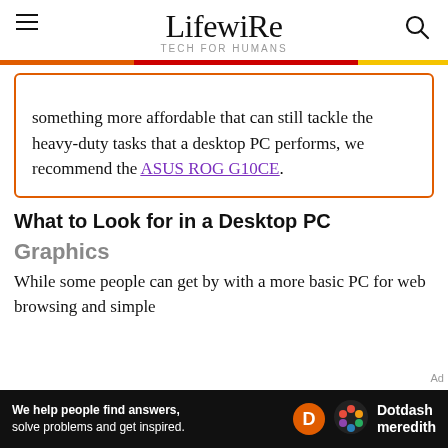Lifewire TECH FOR HUMANS
something more affordable that can still tackle the heavy-duty tasks that a desktop PC performs, we recommend the ASUS ROG G10CE.
What to Look for in a Desktop PC
Graphics
While some people can get by with a more basic PC for web browsing and simple
[Figure (other): Dotdash Meredith advertisement banner at bottom: 'We help people find answers, solve problems and get inspired.' with Dotdash Meredith logo]